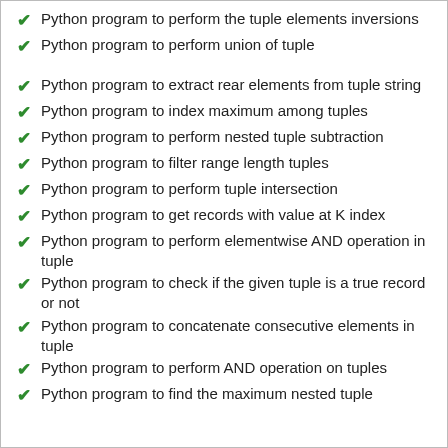Python program to perform the tuple elements inversions
Python program to perform union of tuple
Python program to extract rear elements from tuple string
Python program to index maximum among tuples
Python program to perform nested tuple subtraction
Python program to filter range length tuples
Python program to perform tuple intersection
Python program to get records with value at K index
Python program to perform elementwise AND operation in tuple
Python program to check if the given tuple is a true record or not
Python program to concatenate consecutive elements in tuple
Python program to perform AND operation on tuples
Python program to find the maximum nested tuple